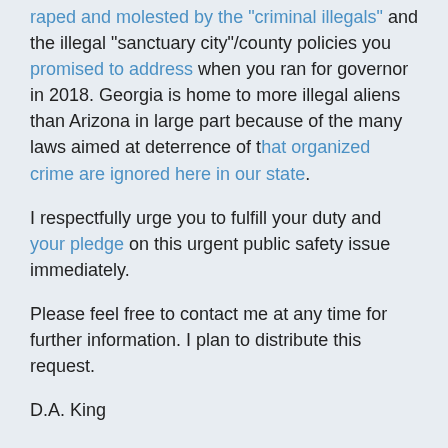raped and molested by the "criminal illegals" and the illegal "sanctuary city"/county policies you promised to address when you ran for governor in 2018. Georgia is home to more illegal aliens than Arizona in large part because of the many laws aimed at deterrence of that organized crime are ignored here in our state.
I respectfully urge you to fulfill your duty and your pledge on this urgent public safety issue immediately.
Please feel free to contact me at any time for further information. I plan to distribute this request.
D.A. King
President, The Dustin Inman Society
Marietta, GA